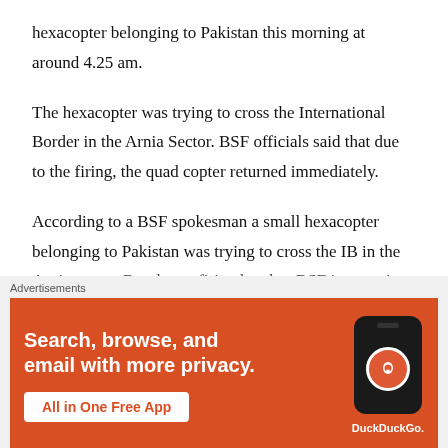hexacopter belonging to Pakistan this morning at around 4.25 am.
The hexacopter was trying to cross the International Border in the Arnia Sector. BSF officials said that due to the firing, the quad copter returned immediately.
According to a BSF spokesman a small hexacopter belonging to Pakistan was trying to cross the IB in the Arnia sector. But due to firing by alert BSF jawans, it returned immediately. He said it was meant for carrying
[Figure (infographic): DuckDuckGo advertisement banner with orange background. Text reads 'Search, browse, and email with more privacy. All in One Free App' with DuckDuckGo logo and phone mockup on the right.]